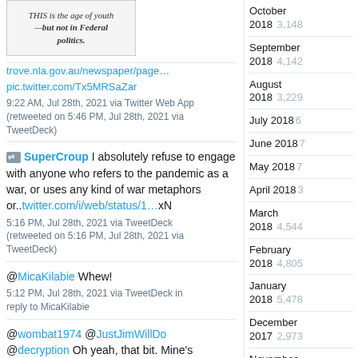[Figure (screenshot): Newspaper clipping image with italic text: THIS is the age of youth —but not in Federal politics.]
trove.nla.gov.au/newspaper/page… pic.twitter.com/Tx5MRSaZar
9:22 AM, Jul 28th, 2021 via Twitter Web App (retweeted on 5:46 PM, Jul 28th, 2021 via TweetDeck)
SuperCroup I absolutely refuse to engage with anyone who refers to the pandemic as a war, or uses any kind of war metaphors or..twitter.com/i/web/status/1…xN
5:16 PM, Jul 28th, 2021 via TweetDeck (retweeted on 5:16 PM, Jul 28th, 2021 via TweetDeck)
@MicaKilabie Whew!
5:12 PM, Jul 28th, 2021 via TweetDeck in reply to MicaKilabie
@wombat1974 @JustJimWillDo @decryption Oh yeah, that bit. Mine's been sitting in storage too. Oh well
October 2018 3,148
September 2018 4,142
August 2018 3,229
July 2018 [number partially obscured]
June 2018 [number partially obscured]
May 2018 [number partially obscured]
April 2018 [number partially obscured]
March 2018 4,544
February 2018 4,805
January 2018 5,478
December 2017 2,973
November 2017 4,202